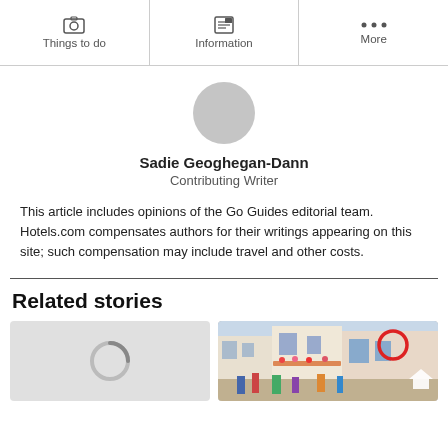Things to do | Information | More
[Figure (photo): Circular profile photo placeholder (grey circle) for author Sadie Geoghegan-Dann]
Sadie Geoghegan-Dann
Contributing Writer
This article includes opinions of the Go Guides editorial team. Hotels.com compensates authors for their writings appearing on this site; such compensation may include travel and other costs.
Related stories
[Figure (photo): Loading spinner ring on grey background (left story card)]
[Figure (photo): Street scene photo showing colourful buildings and pedestrians, with a red circle road sign and a white chevron arrow overlay (right story card)]